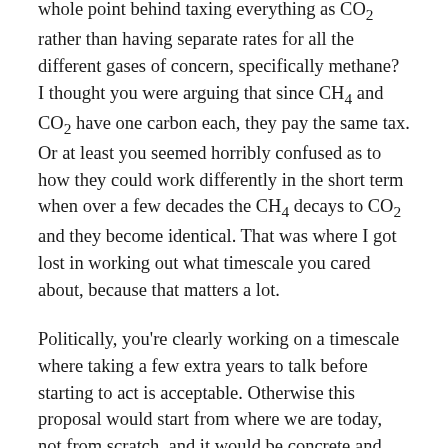whole point behind taxing everything as CO2 rather than having separate rates for all the different gases of concern, specifically methane? I thought you were arguing that since CH4 and CO2 have one carbon each, they pay the same tax. Or at least you seemed horribly confused as to how they could work differently in the short term when over a few decades the CH4 decays to CO2 and they become identical. That was where I got lost in working out what timescale you cared about, because that matters a lot.
Politically, you're clearly working on a timescale where taking a few extra years to talk before starting to act is acceptable. Otherwise this proposal would start from where we are today, not from scratch, and it would be concrete and largely political rather than abstract.
If this was 1970, you'd be kinda right and we did have a couple of decades to get our shit together. But it's 2016, we passed 1.5 degrees this year, and you don't seem bothered that the difference between you and Key on this issue is that no-one